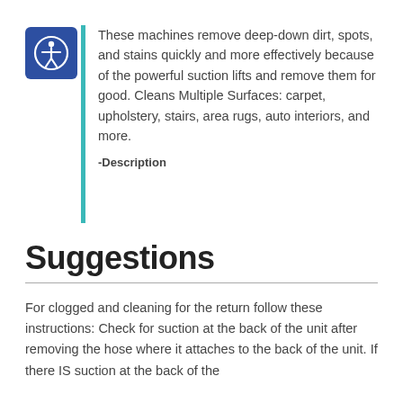[Figure (illustration): Accessibility icon — white person with arms outstretched inside a circle, on a blue square background]
These machines remove deep-down dirt, spots, and stains quickly and more effectively because of the powerful suction lifts and remove them for good. Cleans Multiple Surfaces: carpet, upholstery, stairs, area rugs, auto interiors, and more.
-Description
Suggestions
For clogged and cleaning for the return follow these instructions: Check for suction at the back of the unit after removing the hose where it attaches to the back of the unit. If there IS suction at the back of the